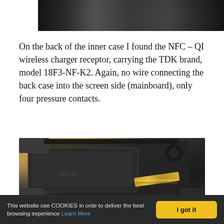[Figure (photo): Top portion of a device teardown photo showing internal components, dark background with metal parts]
On the back of the inner case I found the NFC – QI wireless charger receptor, carrying the TDK brand, model 18F3-NF-K2. Again, no wire connecting the back case into the screen side (mainboard), only four pressure contacts.
[Figure (photo): Close-up photo of the inner back case of a device showing the NFC-QI wireless charger receptor module (TDK model 18F3-NF-K2), dark plastic casing with a rectangular coil module and a gold flexible ribbon cable visible.]
This website use COOKIES in orde to deliver the best browsing experience Learn More